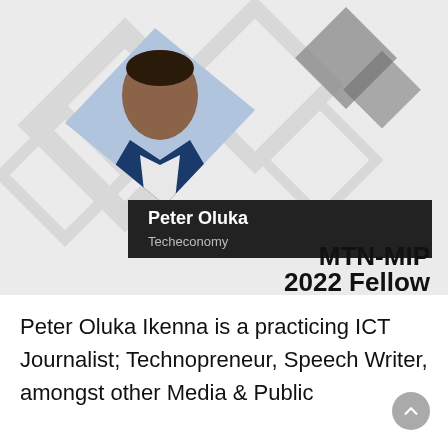[Figure (photo): Profile card for Peter Oluka showing a man in a blue suit jacket, smiling, with decorative diamond-shaped geometric background elements in gray and dark colors. Name banner reads 'Peter Oluka / Techeconomy'. Bottom right text reads 'MTN-MIP 2022 Fellow'.]
Peter Oluka Ikenna is a practicing ICT Journalist; Technopreneur, Speech Writer, amongst other Media & Public